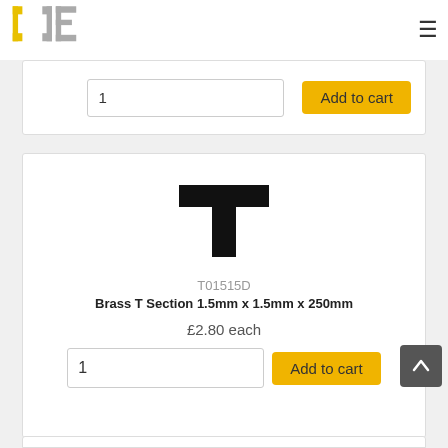Logo and navigation header
[Figure (other): Product card partial top - quantity input field showing '1' and yellow 'Add to cart' button]
[Figure (other): T-shaped cross-section icon rendered as bold black T shape]
T01515D
Brass T Section 1.5mm x 1.5mm x 250mm
£2.80 each
[Figure (other): Quantity input field showing '1' and yellow 'Add to cart' button]
[Figure (other): Dark grey back-to-top button with upward chevron arrow]
[Figure (other): Partial bottom product card, white background with border, clipped at page bottom]